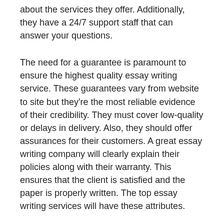about the services they offer. Additionally, they have a 24/7 support staff that can answer your questions.
The need for a guarantee is paramount to ensure the highest quality essay writing service. These guarantees vary from website to site but they're the most reliable evidence of their credibility. They must cover low-quality or delays in delivery. Also, they should offer assurances for their customers. A great essay writing company will clearly explain their policies along with their warranty. This ensures that the client is satisfied and the paper is properly written. The top essay writing services will have these attributes.
It is crucial to select the best essay writing service for your specific needs. Don't be only concerned about the quality of the work. Also, you should take into consideration the cost. Costs of hiring an essay writer could be expensive, particularly if you are unable to cover the cost. It's best to find a professional to complete your task. You'll find the best essay writing service if you